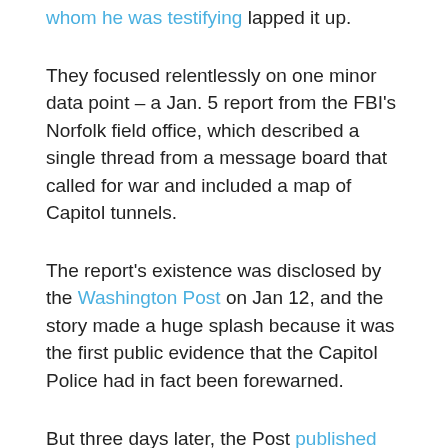whom he was testifying lapped it up.
They focused relentlessly on one minor data point – a Jan. 5 report from the FBI's Norfolk field office, which described a single thread from a message board that called for war and included a map of Capitol tunnels.
The report's existence was disclosed by the Washington Post on Jan 12, and the story made a huge splash because it was the first public evidence that the Capitol Police had in fact been forewarned.
But three days later, the Post published the real bombshell: a story about that Jan. 3 memo.
The Jan. 5 FBI report was shared with the Capitol Police intelligence unit. Sund said he didn't get it, however, and